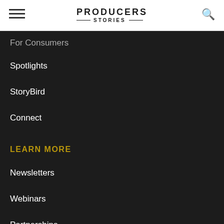PRODUCERS STORIES
For Consumers
Spotlights
StoryBird
Connect
LEARN MORE
Newsletters
Webinars
Partnerships
About Producers Market